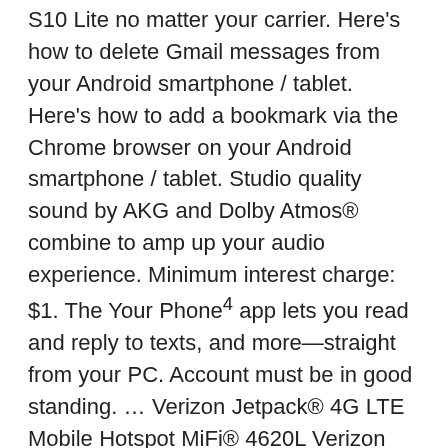S10 Lite no matter your carrier. Here's how to delete Gmail messages from your Android smartphone / tablet. Here's how to add a bookmark via the Chrome browser on your Android smartphone / tablet. Studio quality sound by AKG and Dolby Atmos® combine to amp up your audio experience. Minimum interest charge: $1. The Your Phone⁴ app lets you read and reply to texts, and more—straight from your PC. Account must be in good standing. … Verizon Jetpack® 4G LTE Mobile Hotspot MiFi® 4620L Verizon Ellipsis® 8 Ellipsis® Jetpack® MHS800L Ellipsis™ Jetpack® MHS815L Verizon Jetpack® 4G LTE Mobile Hotspot - AC791L Verizon … Here's how to use Find My Device to remotely locate your Android device. Advertised payment amount excludes taxes, delivery or other charges. Include obscene vulgar, abusive, harassing,